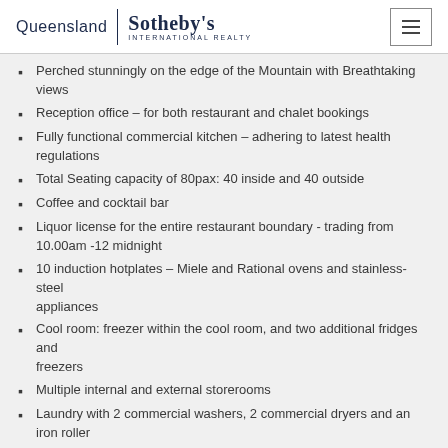Queensland | Sotheby's International Realty
Perched stunningly on the edge of the Mountain with Breathtaking views
Reception office – for both restaurant and chalet bookings
Fully functional commercial kitchen – adhering to latest health regulations
Total Seating capacity of 80pax: 40 inside and 40 outside
Coffee and cocktail bar
Liquor license for the entire restaurant boundary - trading from 10.00am -12 midnight
10 induction hotplates – Miele and Rational ovens and stainless-steel appliances
Cool room: freezer within the cool room, and two additional fridges and freezers
Multiple internal and external storerooms
Laundry with 2 commercial washers, 2 commercial dryers and an iron roller